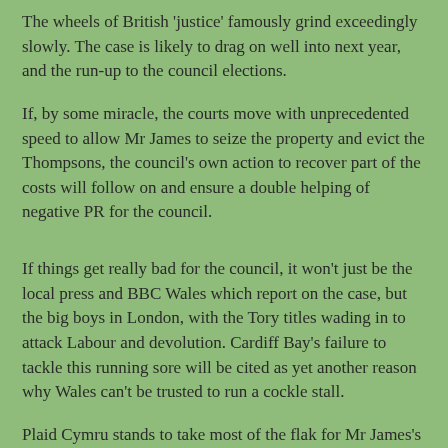The wheels of British 'justice' famously grind exceedingly slowly. The case is likely to drag on well into next year, and the run-up to the council elections.
If, by some miracle, the courts move with unprecedented speed to allow Mr James to seize the property and evict the Thompsons, the council's own action to recover part of the costs will follow on and ensure a double helping of negative PR for the council.
If things get really bad for the council, it won't just be the local press and BBC Wales which report on the case, but the big boys in London, with the Tory titles wading in to attack Labour and devolution. Cardiff Bay's failure to tackle this running sore will be cited as yet another reason why Wales can't be trusted to run a cockle stall.
Plaid Cymru stands to take most of the flak for Mr James's actions, even though this is a mess it inherited. Politics can be very unfair like that, and the consequences for local government in Carmarthenshire could be dire.